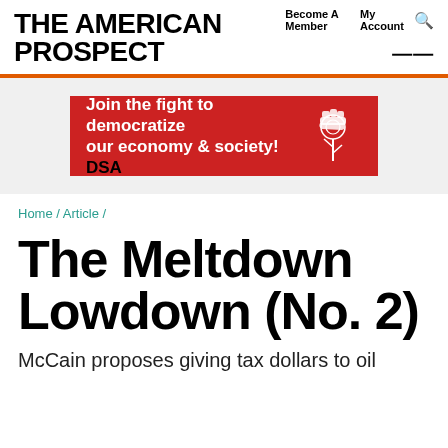THE AMERICAN PROSPECT | Become A Member  My Account  🔍  ≡
[Figure (infographic): DSA advertisement banner: 'Join the fight to democratize our economy & society! DSA' in white and black text on a red background with a DSA rose logo on the right.]
Home / Article /
The Meltdown Lowdown (No. 2)
McCain proposes giving tax dollars to oil